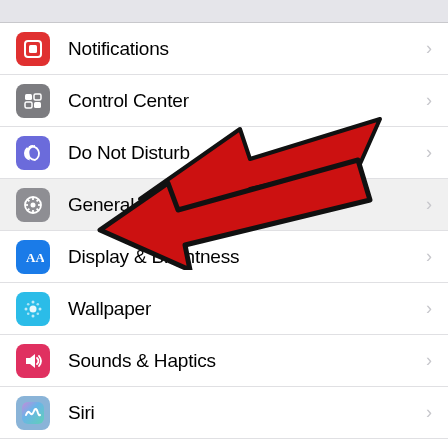[Figure (screenshot): iOS Settings menu screenshot showing list items: Notifications, Control Center, Do Not Disturb, General (highlighted with red arrow annotation), Display & Brightness, Wallpaper, Sounds & Haptics, Siri, Touch ID & Passcode, Battery, Privacy (partially visible). A large red arrow points to the General item.]